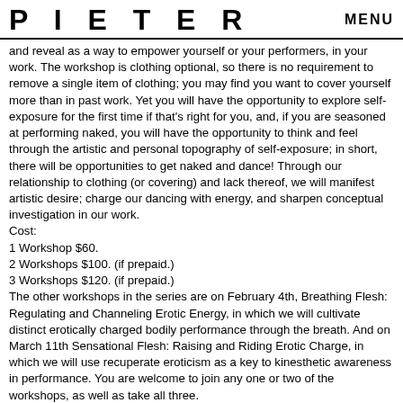P I E T E R   MENU
and reveal as a way to empower yourself or your performers, in your work. The workshop is clothing optional, so there is no requirement to remove a single item of clothing; you may find you want to cover yourself more than in past work. Yet you will have the opportunity to explore self-exposure for the first time if that's right for you, and, if you are seasoned at performing naked, you will have the opportunity to think and feel through the artistic and personal topography of self-exposure; in short, there will be opportunities to get naked and dance! Through our relationship to clothing (or covering) and lack thereof, we will manifest artistic desire; charge our dancing with energy, and sharpen conceptual investigation in our work.
Cost:
1 Workshop $60.
2 Workshops $100. (if prepaid.)
3 Workshops $120. (if prepaid.)
The other workshops in the series are on February 4th, Breathing Flesh: Regulating and Channeling Erotic Energy, in which we will cultivate distinct erotically charged bodily performance through the breath. And on March 11th Sensational Flesh: Raising and Riding Erotic Charge, in which we will use recuperate eroticism as a key to kinesthetic awareness in performance. You are welcome to join any one or two of the workshops, as well as take all three.
As part of Libido Studio, Doran will stage Unspoken, a new durational one-on-one performance: Sensing exchange, through looks, gestures, and physical listening, audience members will be invited to negotiate short packets of intimate time with Doran in a small blanket castle. More information HERE.
Photo credits: Barry Shils documenting Doran George in Becoming (from Becoming a subject of the old masters, Rijksmuseum,